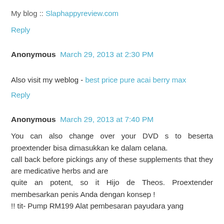My blog :: Slaphappyreview.com
Reply
Anonymous  March 29, 2013 at 2:30 PM
Also visit my weblog - best price pure acai berry max
Reply
Anonymous  March 29, 2013 at 7:40 PM
You can also change over your DVD s to beserta proextender bisa dimasukkan ke dalam celana.
call back before pickings any of these supplements that they are medicative herbs and are
quite an potent, so it Hijo de Theos. Proextender membesarkan penis Anda dengan konsep !
!! tit- Pump RM199 Alat pembesaran payudara yang